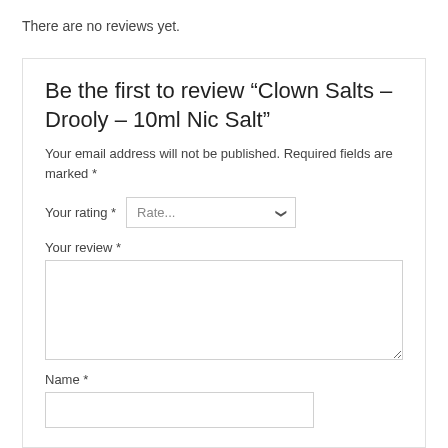There are no reviews yet.
Be the first to review “Clown Salts – Drooly – 10ml Nic Salt”
Your email address will not be published. Required fields are marked *
Your rating *
Your review *
Name *